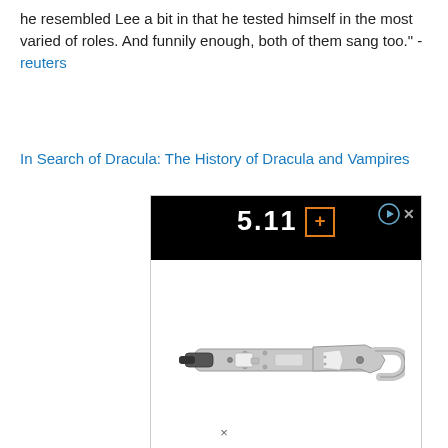he resembled Lee a bit in that he tested himself in the most varied of roles. And funnily enough, both of them sang too." - reuters
In Search of Dracula: The History of Dracula and Vampires
[Figure (screenshot): Advertisement banner for 5.11 brand showing the logo '5.11' with an orange square icon, play and close buttons, and a product image of a silver multi-tool / utility device on white background.]
×